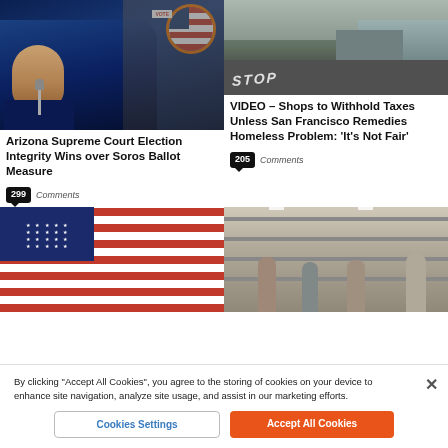[Figure (photo): Elderly man speaking at microphone with circular inset showing a VOTE sign and woman, blue background]
Arizona Supreme Court Election Integrity Wins over Soros Ballot Measure
299 Comments
[Figure (photo): Street scene with STOP painted on road, homeless encampment visible]
VIDEO – Shops to Withhold Taxes Unless San Francisco Remedies Homeless Problem: 'It's Not Fair'
205 Comments
[Figure (photo): Close-up of American flag with stars and stripes]
[Figure (photo): Interior of grocery store with shoppers browsing shelves]
By clicking "Accept All Cookies", you agree to the storing of cookies on your device to enhance site navigation, analyze site usage, and assist in our marketing efforts.
Cookies Settings
Accept All Cookies